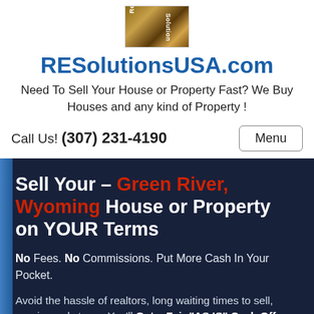[Figure (logo): RESolutionsUSA.com logo with wood-grain texture background, text 'Real Estate Solutions' arranged vertically on sides]
RESolutionsUSA.com
Need To Sell Your House or Property Fast? We Buy Houses and any kind of Property!
Call Us! (307) 231-4190
Sell Your – Green River, Wyoming House or Property on YOUR Terms
No Fees. No Commissions. Put More Cash In Your Pocket.
Avoid the hassle of realtors, long waiting times to sell, repairs and stress. You'll Get a Fair "AS IS" Cash Offer and YOU chose the closing date